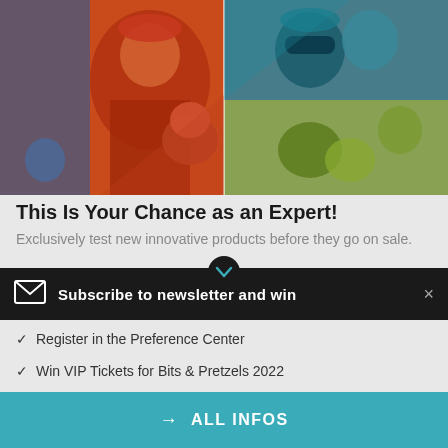[Figure (photo): Collage of outdoor sports people with orange/red and teal/green color overlays, showing skiers, snowboarders and other athletes smiling]
This Is Your Chance as an Expert!
Exclusively test new innovative products before they go on sale.
Subscribe to newsletter and win
Register in the Preference Center
Win VIP Tickets for Bits & Pretzels 2022
Get Insights from the Sports Business World
→ ALL INFOS